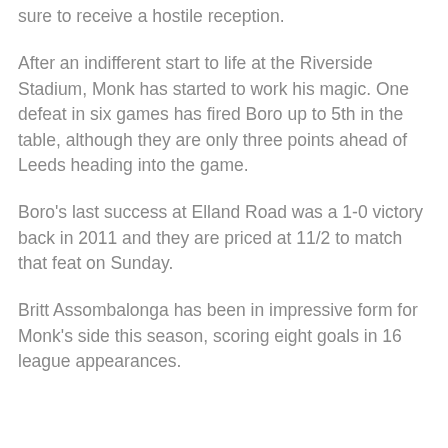sure to receive a hostile reception.
After an indifferent start to life at the Riverside Stadium, Monk has started to work his magic. One defeat in six games has fired Boro up to 5th in the table, although they are only three points ahead of Leeds heading into the game.
Boro's last success at Elland Road was a 1-0 victory back in 2011 and they are priced at 11/2 to match that feat on Sunday.
Britt Assombalonga has been in impressive form for Monk's side this season, scoring eight goals in 16 league appearances.